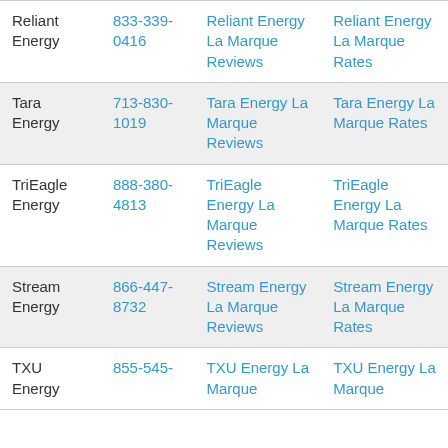| Reliant Energy | 833-339-0416 | Reliant Energy La Marque Reviews | Reliant Energy La Marque Rates |
| Tara Energy | 713-830-1019 | Tara Energy La Marque Reviews | Tara Energy La Marque Rates |
| TriEagle Energy | 888-380-4813 | TriEagle Energy La Marque Reviews | TriEagle Energy La Marque Rates |
| Stream Energy | 866-447-8732 | Stream Energy La Marque Reviews | Stream Energy La Marque Rates |
| TXU Energy | 855-545- | TXU Energy La Marque | TXU Energy La Marque |